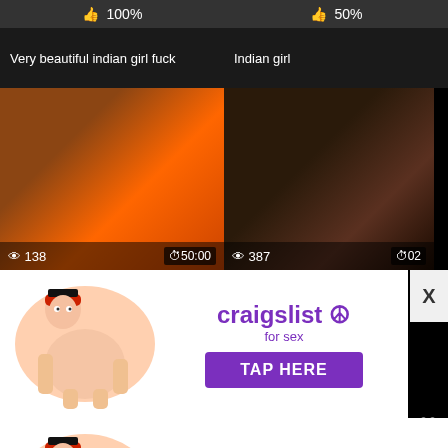[Figure (screenshot): Video thumbnail grid showing adult content with ratings, view counts, and durations]
👍 100%
👍 50%
Very beautiful indian girl fuck
Indian girl
👁 138   ⏱50:00
👁 387   ⏱02
[Figure (illustration): Craigslist for sex advertisement with cartoon figures and TAP HERE button]
[Figure (illustration): Craigslist for sex advertisement with cartoon figures and TAP HERE button (duplicate)]